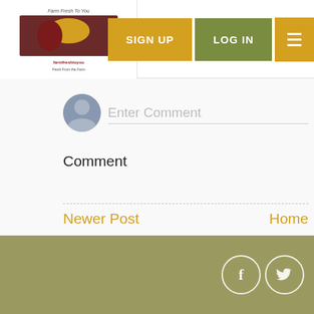[Figure (logo): Farm Fresh To You logo with fruit/vegetable imagery]
SIGN UP
LOG IN
Enter Comment
Comment
Newer Post
Home
Subscribe to: Post Comments ( Atom )
[Figure (illustration): Facebook and Twitter social media icons in circles on olive/khaki footer background]